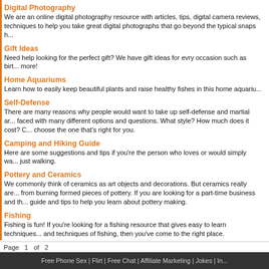Digital Photography
We are an online digital photography resource with articles, tips, digital camera reviews, techniques to help you take great digital photographs that go beyond the typical snaps h...
Gift Ideas
Need help looking for the perfect gift? We have gift ideas for evry occasion such as birt... more!
Home Aquariums
Learn how to easily keep beautiful plants and raise healthy fishes in this home aquariu...
Self-Defense
There are many reasons why people would want to take up self-defense and martial ar... faced with many different options and questions. What style? How much does it cost? C... choose the one that's right for you.
Camping and Hiking Guide
Here are some suggestions and tips if you're the person who loves or would simply wa... just walking.
Pottery and Ceramics
We commonly think of ceramics as art objects and decorations. But ceramics really are... from burning formed pieces of pottery. If you are looking for a part-time business and th... guide and tips to help you learn about pottery making.
Fishing
Fishing is fun! If you're looking for a fishing resource that gives easy to learn techniques... and techniques of fishing, then you've come to the right place.
Photography
Are you interested in photography? There are a lot of photography accessories on the m... a waste of money. Here are useful info for buying photography accessories and tips on...
Page  1  of  2
Free Phone Sex | Flirt | Free Chat | Affiliate Marketing | Jokes | In...